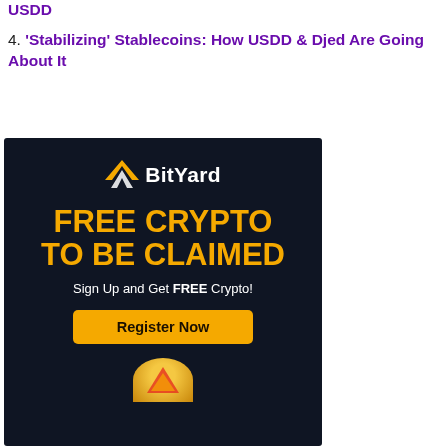USDD
4. ‘Stabilizing’ Stablecoins: How USDD & Djed Are Going About It
[Figure (illustration): BitYard advertisement banner with dark navy background. Shows BitYard logo (gold/white chevron icon and white text 'BitYard'), large gold bold text 'FREE CRYPTO TO BE CLAIMED', white text 'Sign Up and Get FREE Crypto!', a gold 'Register Now' button, and partial view of a coin graphic at the bottom.]